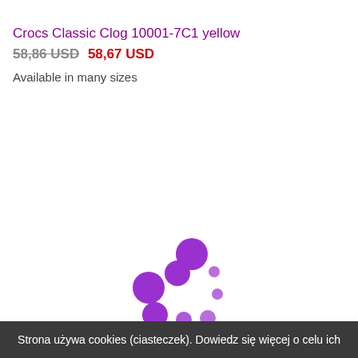Crocs Classic Clog 10001-7C1 yellow
58,86 USD 58,67 USD
Available in many sizes
[Figure (other): Loading spinner made of purple circles of varying sizes arranged in a circular arc pattern]
Strona używa cookies (ciasteczek). Dowiedz się więcej o celu ich